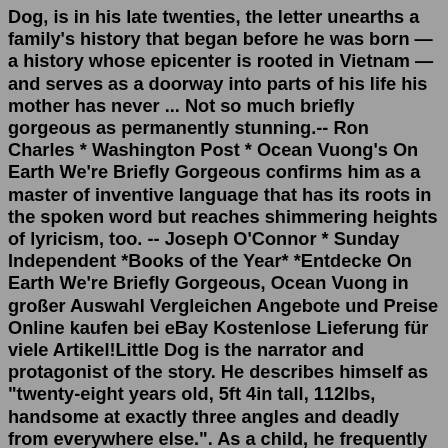Dog, is in his late twenties, the letter unearths a family's history that began before he was born — a history whose epicenter is rooted in Vietnam — and serves as a doorway into parts of his life his mother has never ... Not so much briefly gorgeous as permanently stunning.-- Ron Charles * Washington Post * Ocean Vuong's On Earth We're Briefly Gorgeous confirms him as a master of inventive language that has its roots in the spoken word but reaches shimmering heights of lyricism, too. -- Joseph O'Connor * Sunday Independent *Books of the Year* *Entdecke On Earth We're Briefly Gorgeous, Ocean Vuong in großer Auswahl Vergleichen Angebote und Preise Online kaufen bei eBay Kostenlose Lieferung für viele Artikel!Little Dog is the narrator and protagonist of the story. He describes himself as "twenty-eight years old, 5ft 4in tall, 112lbs, handsome at exactly three angles and deadly from everywhere else.". As a child, he frequently experiences physical abuse by his mother. Though the relationship between Little Dog and his mother,...